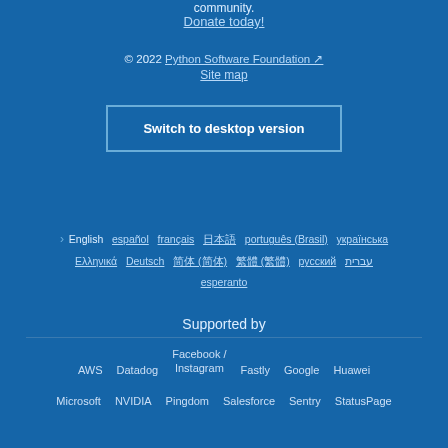community.
Donate today!
© 2022 Python Software Foundation  Site map
Switch to desktop version
English  español  français  日本語  português (Brasil)  українська  Ελληνικά  Deutsch  简体中文 (中国)  繁體中文 (台灣)  русский  עברית  esperanto
Supported by
AWS  Datadog  Facebook / Instagram  Fastly  Google  Huawei  Microsoft  NVIDIA  Pingdom  Salesforce  Sentry  StatusPage